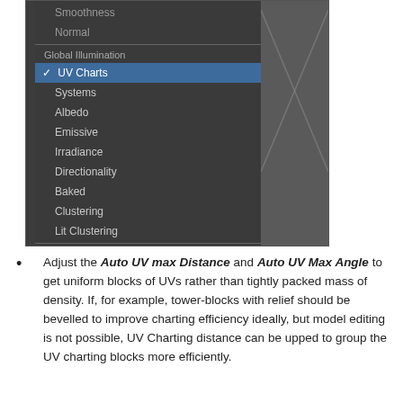[Figure (screenshot): Unity editor UI screenshot showing a dropdown menu with Global Illumination options. UV Charts is selected (highlighted in blue). Menu items include: Smoothness, Normal, Global Illumination (header), UV Charts (checked/selected), Systems, Albedo, Emissive, Irradiance, Directionality, Baked, Clustering, Lit Clustering, and Show Lightmap Resolution (checked). Right side shows a grey textured panel.]
Adjust the Auto UV max Distance and Auto UV Max Angle to get uniform blocks of UVs rather than tightly packed mass of density. If, for example, tower-blocks with relief should be bevelled to improve charting efficiency ideally, but model editing is not possible, UV Charting distance can be upped to group the UV charting blocks more efficiently.